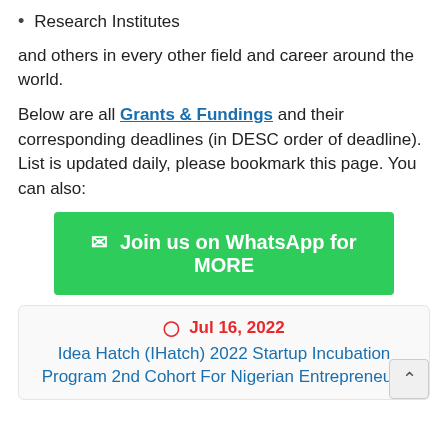Research Institutes
and others in every other field and career around the world.
Below are all Grants & Fundings and their corresponding deadlines (in DESC order of deadline). List is updated daily, please bookmark this page. You can also:
🔔 Join us on WhatsApp for MORE
🔔 Jul 16, 2022
Idea Hatch (IHatch) 2022 Startup Incubation Program 2nd Cohort For Nigerian Entrepreneurs